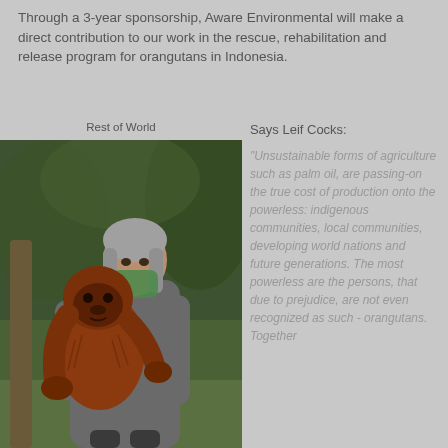Through a 3-year sponsorship, Aware Environmental will make a direct contribution to our work in the rescue, rehabilitation and release program for orangutans in Indonesia.
[Figure (photo): Photo of a man wearing a grey shirt and green face mask holding a young orangutan in a jungle/forest setting. Caption reads 'Rest of World'.]
Says Leif Cocks:
"Unsustainable forms of agriculture such as palm oil, are passing-on the true cost of production onto the powerless: indigenous communities, local communities, developing world nations and future generations. The most powerless are the persons, that due to prejudice, are not even recognized as such - orangutans. Together